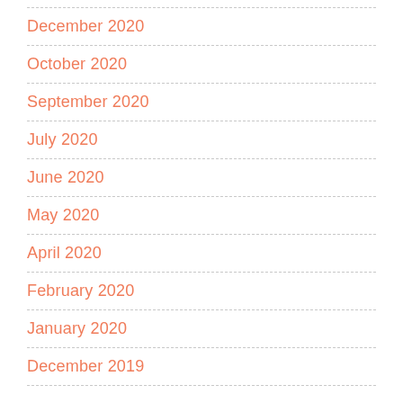December 2020
October 2020
September 2020
July 2020
June 2020
May 2020
April 2020
February 2020
January 2020
December 2019